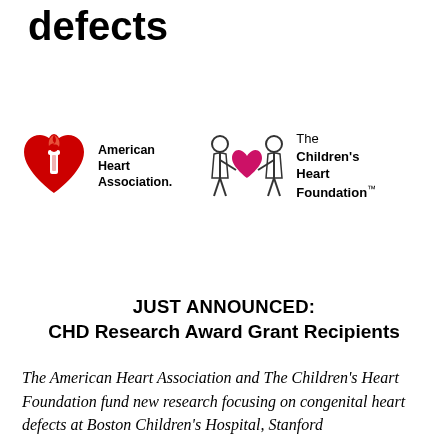defects
[Figure (logo): American Heart Association logo (red heart with torch flame) alongside text 'American Heart Association.' and The Children's Heart Foundation logo (two children holding a red heart) alongside text 'The Children's Heart Foundation™']
JUST ANNOUNCED:
CHD Research Award Grant Recipients
The American Heart Association and The Children's Heart Foundation fund new research focusing on congenital heart defects at Boston Children's Hospital, Stanford